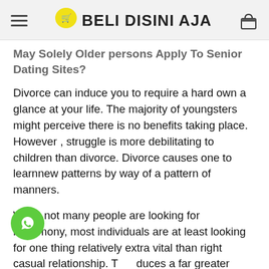BELI DISINI AJA
May Solely Older persons Apply To Senior Dating Sites?
Divorce can induce you to require a hard own a glance at your life. The majority of youngsters might perceive there is no benefits taking place. However , struggle is more debilitating to children than divorce. Divorce causes one to learnnew patterns by way of a pattern of manners.
While not many people are looking for matrimony, most individuals are at least looking for one thing relatively extra vital than right casual relationship. T duces a far greater environment and dating e ment for you of their forties and 50s. Many lonely hearts in their 40s have were living some